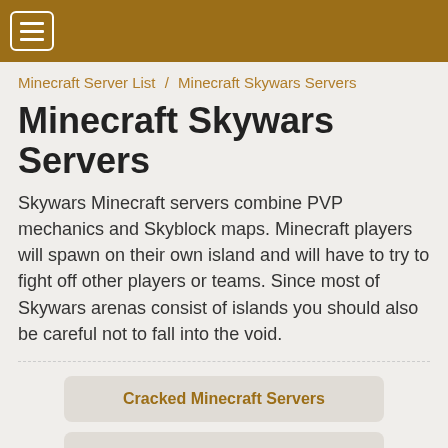☰ (menu button)
Minecraft Server List / Minecraft Skywars Servers
Minecraft Skywars Servers
Skywars Minecraft servers combine PVP mechanics and Skyblock maps. Minecraft players will spawn on their own island and will have to try to fight off other players or teams. Since most of Skywars arenas consist of islands you should also be careful not to fall into the void.
Cracked Minecraft Servers
Fun Minecraft Servers
Minecraft Adventure Servers
Minecraft Anarchy Servers